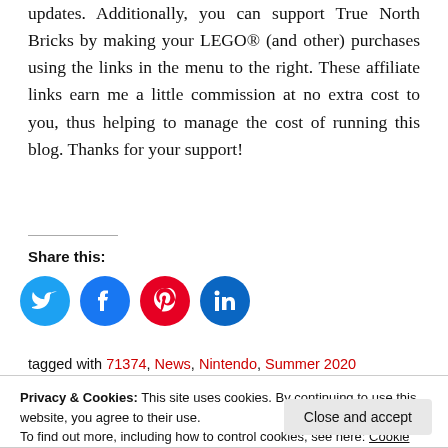updates. Additionally, you can support True North Bricks by making your LEGO® (and other) purchases using the links in the menu to the right. These affiliate links earn me a little commission at no extra cost to you, thus helping to manage the cost of running this blog. Thanks for your support!
Share this:
[Figure (infographic): Four circular social media share buttons: Twitter (blue), Facebook (dark blue), Pinterest (red), LinkedIn (dark blue)]
tagged with 71374, News, Nintendo, Summer 2020
Privacy & Cookies: This site uses cookies. By continuing to use this website, you agree to their use. To find out more, including how to control cookies, see here: Cookie Policy